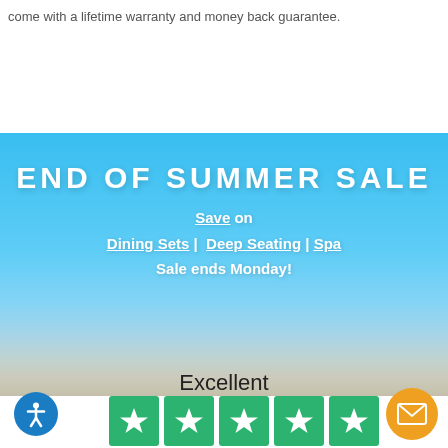come with a lifetime warranty and money back guarantee.
[Figure (infographic): End of Summer Sale banner with sky/beach background. Text: END OF SUMMER SALE, Save on Dining Sets | Deep Seating | Spa, Sale ends Monday!]
Excellent
[Figure (other): Five green Trustpilot star rating boxes]
Based on 1,897 reviews
[Figure (logo): Trustpilot logo with green star]